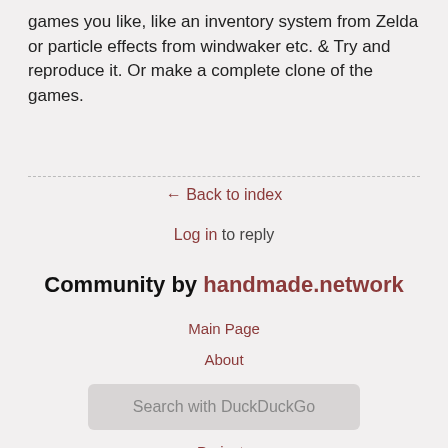games you like, like an inventory system from Zelda or particle effects from windwaker etc. & Try and reproduce it. Or make a complete clone of the games.
← Back to index
Log in to reply
Community by handmade.network
Main Page
About
Handmade Manifesto
Forums
Projects
Communication Guidelines
Contact
Search with DuckDuckGo